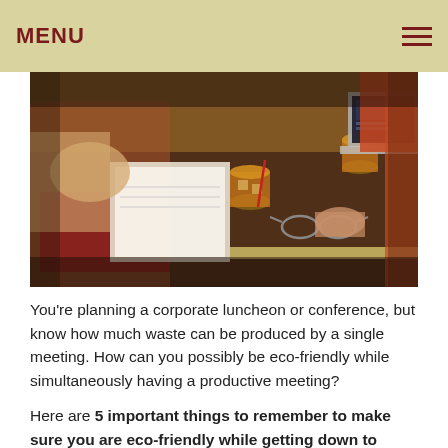MENU
[Figure (photo): People sitting around a conference table with notebooks, drinks, glasses, and a laptop — a corporate meeting scene.]
You're planning a corporate luncheon or conference, but know how much waste can be produced by a single meeting. How can you possibly be eco-friendly while simultaneously having a productive meeting?
Here are 5 important things to remember to make sure you are eco-friendly while getting down to business:
Cut Down on Paper
One of the most efficient ways to reduce your meeting's